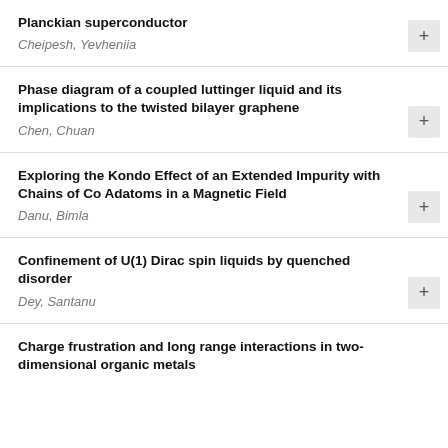Planckian superconductor
Cheipesh, Yevheniia
Phase diagram of a coupled luttinger liquid and its implications to the twisted bilayer graphene
Chen, Chuan
Exploring the Kondo Effect of an Extended Impurity with Chains of Co Adatoms in a Magnetic Field
Danu, Bimla
Confinement of U(1) Dirac spin liquids by quenched disorder
Dey, Santanu
Charge frustration and long range interactions in two-dimensional organic metals